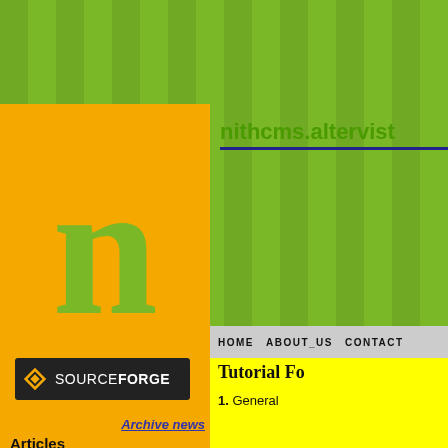[Figure (logo): Large green letter 'n' on orange background - website logo]
[Figure (logo): SourceForge logo - dark background with orange diamond and white text]
Archive news
Articles
FAQ
Bugs
nithcms.altervist
HOME   ABOUT_US   CONTACT
Tutorial Fo
1. General